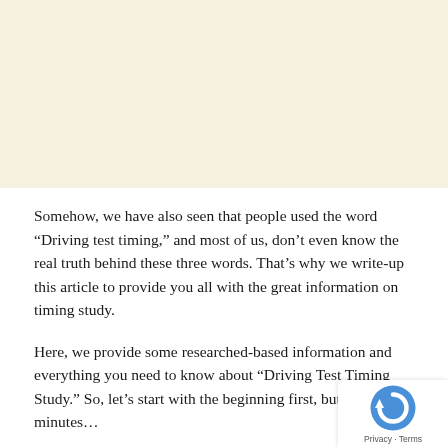[Figure (other): Blank cream/beige colored top area, likely an image placeholder]
Somehow, we have also seen that people used the word “Driving test timing,” and most of us, don’t even know the real truth behind these three words. That’s why we write-up this article to provide you all with the great information on timing study.
Here, we provide some researched-based information and everything you need to know about “Driving Test Timing Study.” So, let’s start with the beginning first, but, wait f… minutes…